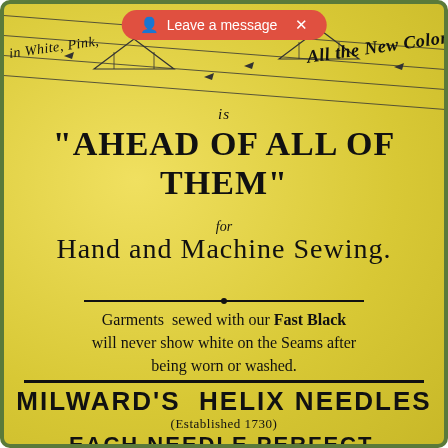[Figure (illustration): Vintage yellow advertisement card for Milward's Helix Needles with decorative diagonal lines and triangular ornaments at top, circa late 1800s.]
in White, [Pink?] ... All the New Colors
is
“AHEAD OF ALL OF THEM”
for
Hand and Machine Sewing.
Garments sewed with our FAST BLACK will never show white on the Seams after being worn or washed.
MILWARD’S HELIX NEEDLES
(Established 1730)
EACH NEEDLE PERFECT.